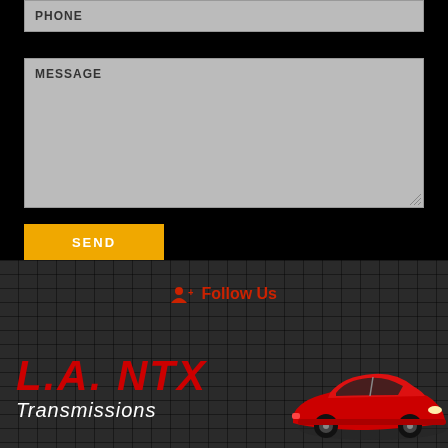PHONE
MESSAGE
SEND
Follow Us
L.A. NTX
Transmissions
[Figure (illustration): Red sports car illustration in bottom right of footer]